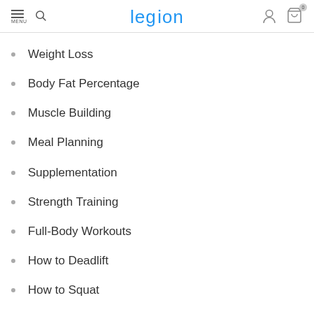legion — navigation header with menu, search, account, and cart icons
Weight Loss
Body Fat Percentage
Muscle Building
Meal Planning
Supplementation
Strength Training
Full-Body Workouts
How to Deadlift
How to Squat